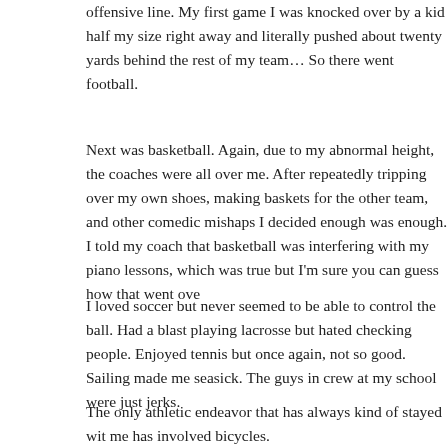offensive line. My first game I was knocked over by a kid half my size right away and literally pushed about twenty yards behind the rest of my team... So there went football.
Next was basketball. Again, due to my abnormal height, the coaches were all over me. After repeatedly tripping over my own shoes, making baskets for the other team, and other comedic mishaps I decided enough was enough. I told my coach that basketball was interfering with my piano lessons, which was true but I'm sure you can guess how that went ove
I loved soccer but never seemed to be able to control the ball. Had a blast playing lacrosse but hated checking people. Enjoyed tennis but once again, not so good. Sailing made me seasick. The guys in crew at my school were just jerks.
The only athletic endeavor that has always kind of stayed wit me has involved bicycles.